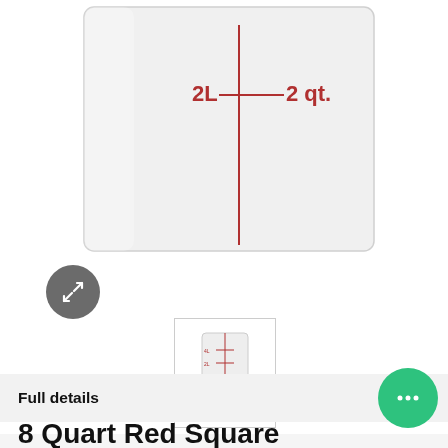[Figure (photo): Close-up view of a white semi-transparent plastic food storage container showing measurement markings: 2L and 2 qt. in red text with a red vertical line indicator.]
[Figure (photo): Expand/fullscreen icon button (grey circle with white resize arrows)]
[Figure (photo): Thumbnail image of an 8-quart red square food storage container with measurement markings]
Full details
[Figure (other): Green circular chat/messaging button with three dots]
8 Quart Red Square